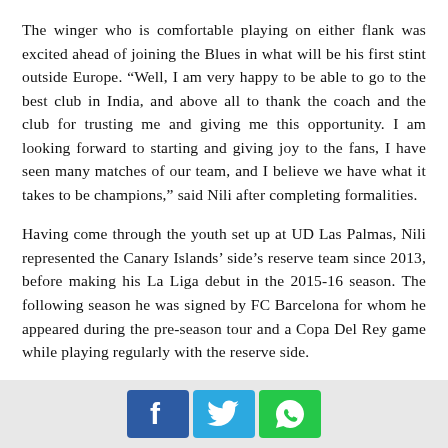The winger who is comfortable playing on either flank was excited ahead of joining the Blues in what will be his first stint outside Europe. “Well, I am very happy to be able to go to the best club in India, and above all to thank the coach and the club for trusting me and giving me this opportunity. I am looking forward to starting and giving joy to the fans, I have seen many matches of our team, and I believe we have what it takes to be champions,” said Nili after completing formalities.
Having come through the youth set up at UD Las Palmas, Nili represented the Canary Islands’ side’s reserve team since 2013, before making his La Liga debut in the 2015-16 season. The following season he was signed by FC Barcelona for whom he appeared during the pre-season tour and a Copa Del Rey game while playing regularly with the reserve side.
[Figure (other): Social media share buttons: Facebook (blue), Twitter (light blue), WhatsApp (green)]